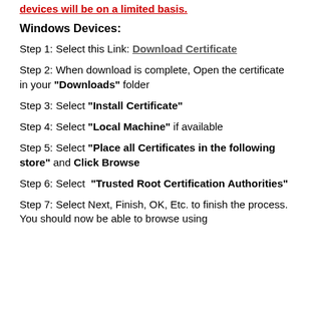devices will be on a limited basis.
Windows Devices:
Step 1:  Select this Link: Download Certificate
Step 2:  When download is complete, Open the certificate in your "Downloads" folder
Step 3:  Select "Install Certificate"
Step 4:  Select "Local Machine" if available
Step 5:  Select "Place all Certificates in the following store" and Click Browse
Step 6:  Select  "Trusted Root Certification Authorities"
Step 7:  Select Next, Finish, OK, Etc. to finish the process. You should now be able to browse using